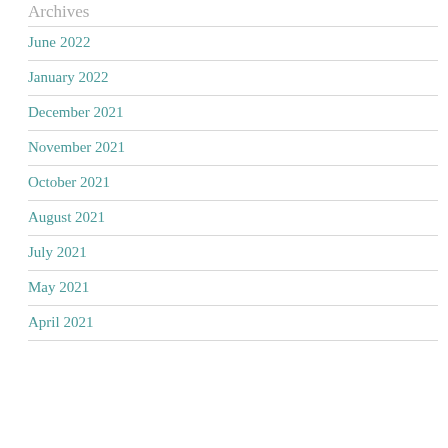Archives
June 2022
January 2022
December 2021
November 2021
October 2021
August 2021
July 2021
May 2021
April 2021